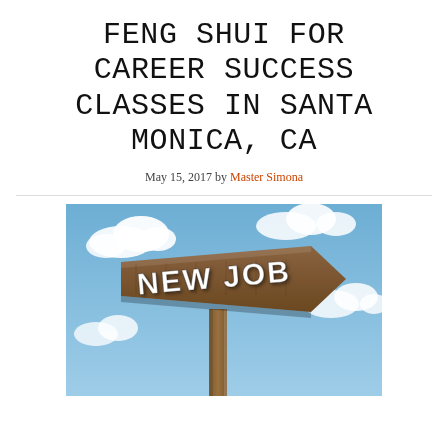FENG SHUI FOR CAREER SUCCESS CLASSES IN SANTA MONICA, CA
May 15, 2017 by Master Simona
[Figure (photo): A wooden directional arrow sign reading 'NEW JOB' mounted on a wooden post, photographed against a blue sky with white clouds.]